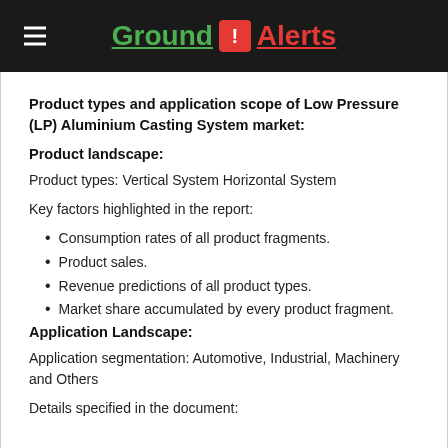Ground ! Alerts
Product types and application scope of Low Pressure (LP) Aluminium Casting System market:
Product landscape:
Product types: Vertical System Horizontal System
Key factors highlighted in the report:
Consumption rates of all product fragments.
Product sales.
Revenue predictions of all product types.
Market share accumulated by every product fragment.
Application Landscape:
Application segmentation: Automotive, Industrial, Machinery and Others
Details specified in the document: